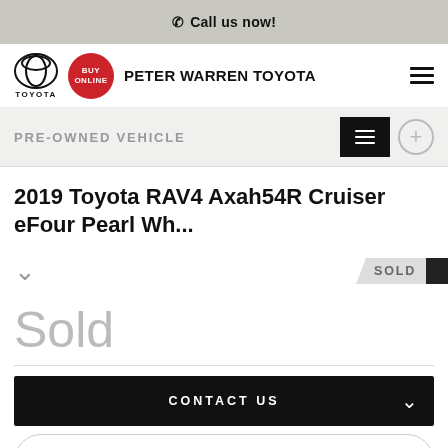Call us now!
[Figure (logo): Toyota logo and Peter Warren Toyota dealership navigation bar with Buy Online badge and hamburger menu]
PRE-OWNED VEHICLE
2019 Toyota RAV4 Axah54R Cruiser eFour Pearl Wh...
Sold
CONTACT US
FINANCE THIS VEHICLE